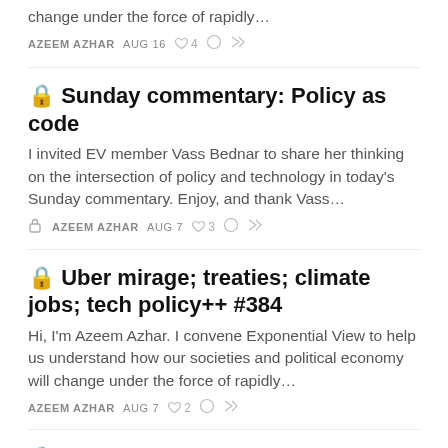change under the force of rapidly…
AZEEM AZHAR   AUG 16   ♡ 4   ○   ↪
🔒 Sunday commentary: Policy as code
I invited EV member Vass Bednar to share her thinking on the intersection of policy and technology in today's Sunday commentary. Enjoy, and thank Vass…
🔒   AZEEM AZHAR   AUG 7   ♡ 3   ○   ↪
🔒 Uber mirage; treaties; climate jobs; tech policy++ #384
Hi, I'm Azeem Azhar. I convene Exponential View to help us understand how our societies and political economy will change under the force of rapidly…
AZEEM AZHAR   AUG 7   ♡ 2   ○   ↪
🔒 EV's Charts of the Week #86
Hi, I'm on holiday this week, so I asked EV member Nat